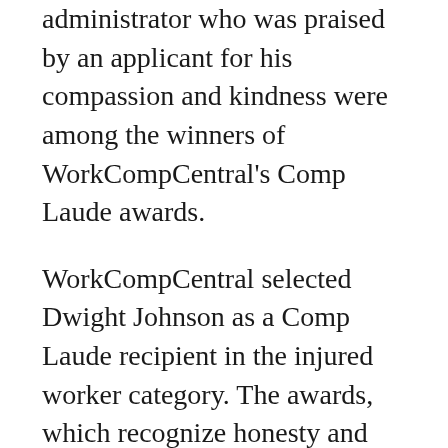administrator who was praised by an applicant for his compassion and kindness were among the winners of WorkCompCentral's Comp Laude awards.
WorkCompCentral selected Dwight Johnson as a Comp Laude recipient in the injured worker category. The awards, which recognize honesty and integrity in the California workers' compensation system, were distributed Saturday during the company's Gala in Los Angeles.
Johnson, who once specialized in designing and installing glass in high-rise buildings, coincidentally was the keynote speaker at the company's Comp Laude